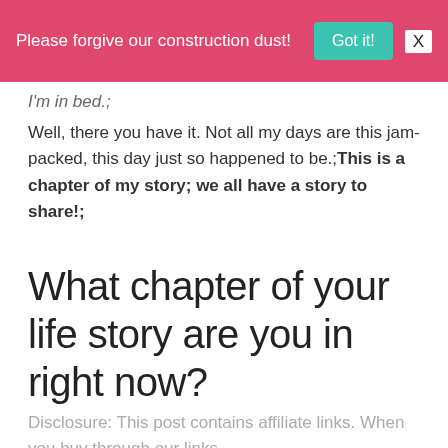Please forgive our construction dust! Got it! X
I'm in bed.;
Well, there you have it. Not all my days are this jam-packed, this day just so happened to be.;This is a chapter of my story; we all have a story to share!;
What chapter of your life story are you in right now?
Disclosure: This post contains affiliate links. When you buy through our links,